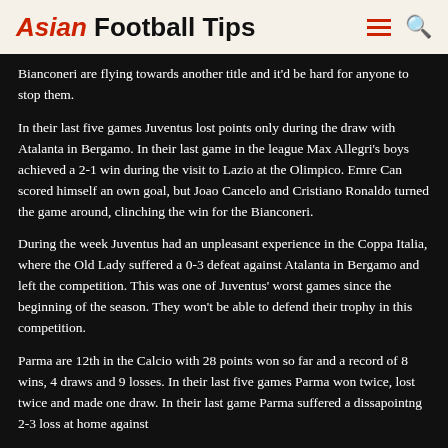Asian Football Tips
Bianconeri are flying towards another title and it'd be hard for anyone to stop them.
In their last five games Juventus lost points only during the draw with Atalanta in Bergamo. In their last game in the league Max Allegri's boys achieved a 2-1 win during the visit to Lazio at the Olimpico. Emre Can scored himself an own goal, but Joao Cancelo and Cristiano Ronaldo turned the game around, clinching the win for the Bianconeri.
During the week Juventus had an unpleasant experience in the Coppa Italia, where the Old Lady suffered a 0-3 defeat against Atalanta in Bergamo and left the competition. This was one of Juventus' worst games since the beginning of the season. They won't be able to defend their trophy in this competition.
Parma are 12th in the Calcio with 28 points won so far and a record of 8 wins, 4 draws and 9 losses. In their last five games Parma won twice, lost twice and made one draw. In their last game Parma suffered a dissapointng 2-3 loss at home against